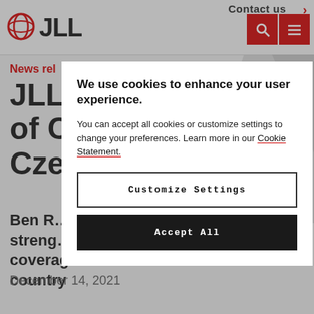Contact us
[Figure (logo): JLL logo with circular globe icon and JLL text in bold black]
News rel
JLL ...ead of C...n Cze...
Ben R... streng... coverage in the country
December 14, 2021
We use cookies to enhance your user experience.
You can accept all cookies or customize settings to change your preferences. Learn more in our Cookie Statement.
Customize Settings
Accept All